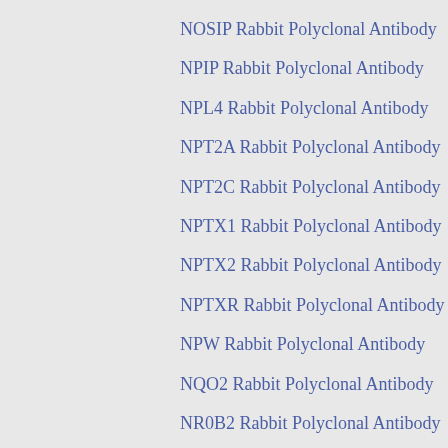NOSIP Rabbit Polyclonal Antibody
NPIP Rabbit Polyclonal Antibody
NPL4 Rabbit Polyclonal Antibody
NPT2A Rabbit Polyclonal Antibody
NPT2C Rabbit Polyclonal Antibody
NPTX1 Rabbit Polyclonal Antibody
NPTX2 Rabbit Polyclonal Antibody
NPTXR Rabbit Polyclonal Antibody
NPW Rabbit Polyclonal Antibody
NQO2 Rabbit Polyclonal Antibody
NR0B2 Rabbit Polyclonal Antibody
NR2C2 Rabbit Polyclonal Antibody
NRBP2 Rabbit Polyclonal Antibody